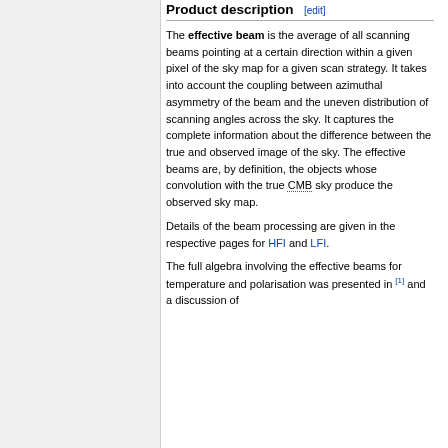Product description [edit]
The effective beam is the average of all scanning beams pointing at a certain direction within a given pixel of the sky map for a given scan strategy. It takes into account the coupling between azimuthal asymmetry of the beam and the uneven distribution of scanning angles across the sky. It captures the complete information about the difference between the true and observed image of the sky. The effective beams are, by definition, the objects whose convolution with the true CMB sky produce the observed sky map.
Details of the beam processing are given in the respective pages for HFI and LFI.
The full algebra involving the effective beams for temperature and polarisation was presented in [1] and a discussion of